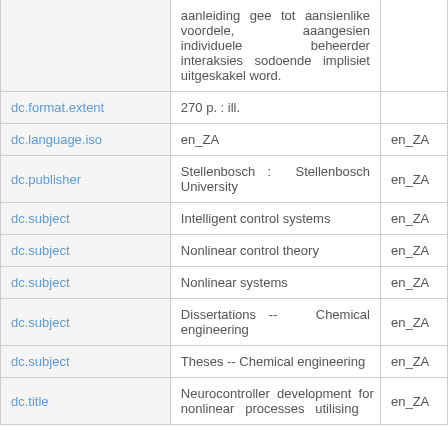|  |  |  |
| --- | --- | --- |
|  | aanleiding gee tot aansienlike voordele, aaangesien individuele beheerder interaksies sodoende implisiet uitgeskakel word. |  |
| dc.format.extent | 270 p. : ill. |  |
| dc.language.iso | en_ZA | en_ZA |
| dc.publisher | Stellenbosch : Stellenbosch University | en_ZA |
| dc.subject | Intelligent control systems | en_ZA |
| dc.subject | Nonlinear control theory | en_ZA |
| dc.subject | Nonlinear systems | en_ZA |
| dc.subject | Dissertations -- Chemical engineering | en_ZA |
| dc.subject | Theses -- Chemical engineering | en_ZA |
| dc.title | Neurocontroller development for nonlinear processes utilising | en_ZA |